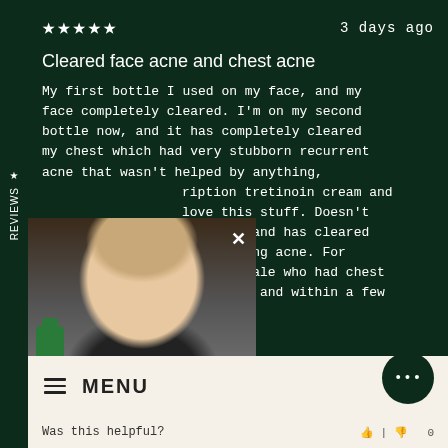★★★★★   3 days ago
Cleared face acne and chest acne
My first bottle I used on my face, and my face completely cleared. I'm on my second bottle now, and it has completely cleared my chest which had very stubborn recurrent acne that wasn't helped by anything, [including prescription] tretinoin cream and [more]. I love this stuff. Doesn't [irritate] at all and has cleared [my embarrassing acne. For a] 38 yo female who had chest [acne for] years now and within a few
[Figure (photo): Photo of a woman holding a green product bottle, with a close (X) button overlay and a 'watch reviews' bar at the bottom of the photo]
watch reviews
MENU
Was this helpful?   | 0